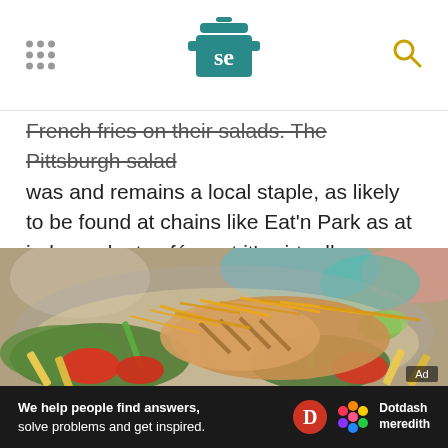SE logo header with navigation dots and search icon
French fries on their salads. The Pittsburgh salad was and remains a local staple, as likely to be found at chains like Eat'n Park as at independent cafés, yet it's virtually unknown outside western Pennsylvania.
[Figure (photo): A Pittsburgh salad in a metal bowl — grilled chicken, shredded cheddar cheese, french fries, green beans, tomatoes, and mixed greens, photographed close-up from above at a slight angle.]
Ad